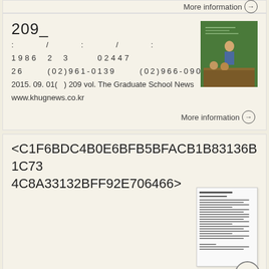More information →
209_
: / : / :
1986 2 3 02447
26 (02)961-0139 (02)966-0902
2015. 09. 01( ) 209 vol. The Graduate School News www.khugnews.co.kr
[Figure (photo): Photo of a person at a chalkboard with two people seated in front]
More information →
<C1F6BDC4B0E6BFB5BFACB1B83136B1C734C8A33132BFF92E706466>
[Figure (photo): Thumbnail of a document page]
More information →